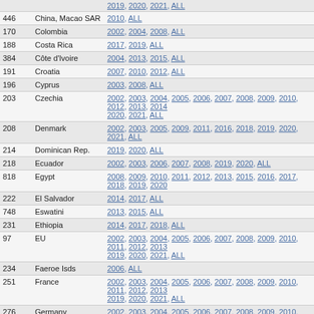| ID | Country | Years |
| --- | --- | --- |
|  |  | 2019, 2020, 2021, ALL |
| 446 | China, Macao SAR | 2010, ALL |
| 170 | Colombia | 2002, 2004, 2008, ALL |
| 188 | Costa Rica | 2017, 2019, ALL |
| 384 | Côte d'Ivoire | 2004, 2013, 2015, ALL |
| 191 | Croatia | 2007, 2010, 2012, ALL |
| 196 | Cyprus | 2003, 2008, ALL |
| 203 | Czechia | 2002, 2003, 2004, 2005, 2006, 2007, 2008, 2009, 2010, 2012, 2013, 2014, 2020, 2021, ALL |
| 208 | Denmark | 2002, 2003, 2005, 2009, 2011, 2016, 2018, 2019, 2020, 2021, ALL |
| 214 | Dominican Rep. | 2019, 2020, ALL |
| 218 | Ecuador | 2002, 2003, 2006, 2007, 2008, 2019, 2020, ALL |
| 818 | Egypt | 2008, 2009, 2010, 2011, 2012, 2013, 2015, 2016, 2017, 2018, 2019, 2020 |
| 222 | El Salvador | 2014, 2017, ALL |
| 748 | Eswatini | 2013, 2015, ALL |
| 231 | Ethiopia | 2014, 2017, 2018, ALL |
| 97 | EU | 2002, 2003, 2004, 2005, 2006, 2007, 2008, 2009, 2010, 2011, 2012, 2013, 2019, 2020, 2021, ALL |
| 234 | Faeroe Isds | 2006, ALL |
| 251 | France | 2002, 2003, 2004, 2005, 2006, 2007, 2008, 2009, 2010, 2011, 2012, 2013, 2019, 2020, 2021, ALL |
| 276 | Germany | 2002, 2003, 2004, 2005, 2006, 2007, 2008, 2009, 2010, 2011, 2012, 2013, 2019, 2020, 2021, ALL |
| 288 | Ghana | 2006, 2012, ALL |
| 300 | Greece | 2002, 2003, 2004, 2005, 2006, 2007, 2008, 2009, 2010, 2011, 2014, 2015 |
| 320 | Guatemala | 2013, 2015, 2016, 2017, ALL |
| 348 | Hungary | 2009, 2011, 2012, 2013, 2014, 2015, 2016, 2017, 2018, 2019, 2020 |